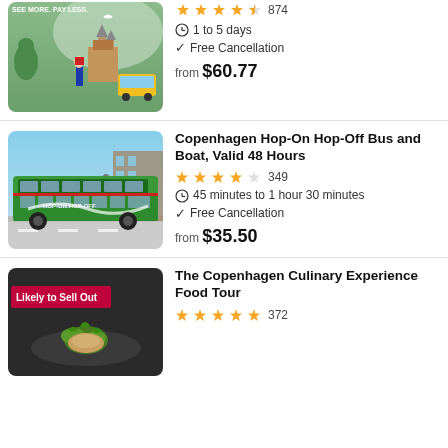[Figure (illustration): Colorful illustrated Copenhagen city landmarks with text SEE MORE. PAY LESS.]
⭐⭐⭐⭐½ 874
🕐 1 to 5 days
✓ Free Cancellation
from $60.77
[Figure (photo): Photo of a green double-decker hop-on hop-off bus on a Copenhagen street]
Copenhagen Hop-On Hop-Off Bus and Boat, Valid 48 Hours
⭐⭐⭐⭐☆ 349
🕐 45 minutes to 1 hour 30 minutes
✓ Free Cancellation
from $35.50
[Figure (photo): Photo of food dish with Likely to Sell Out badge, for Copenhagen Culinary Experience Food Tour]
The Copenhagen Culinary Experience Food Tour
⭐⭐⭐⭐⭐ 372